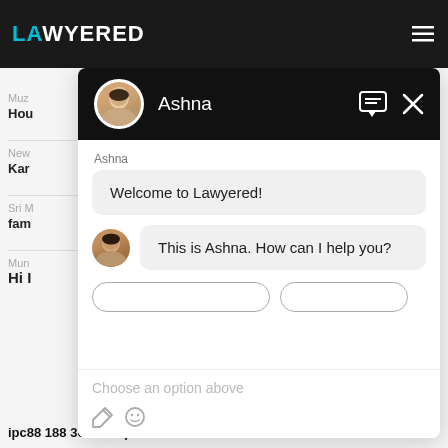[Figure (screenshot): Lawyered website header with logo in teal/cyan on dark background, hamburger menu icon top right]
Muz
Hou
New
Kar
Sri M
fam
Mun
Hi I
ipc88 188 369 270 ipc
[Figure (screenshot): Chat widget overlay with black header showing Ashna avatar and name, chat bubble 'Welcome to Lawyered!', second bubble 'This is Ashna. How can I help you?', options row with two rounded buttons, input area with 'Choose an option above' placeholder text and attachment/emoji icons]